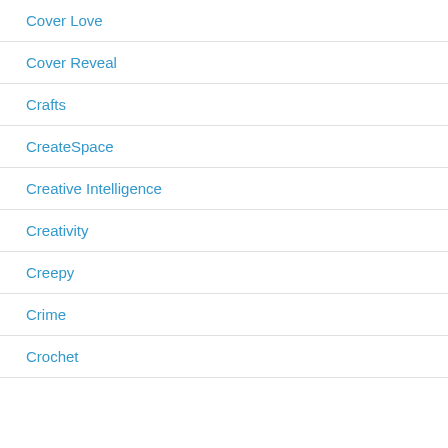Cover Love
Cover Reveal
Crafts
CreateSpace
Creative Intelligence
Creativity
Creepy
Crime
Crochet